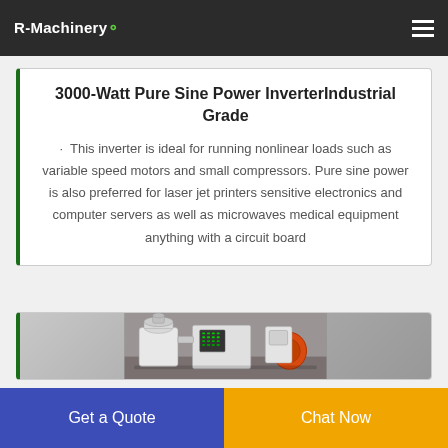R-Machinery
3000-Watt Pure Sine Power InverterIndustrial Grade
· This inverter is ideal for running nonlinear loads such as variable speed motors and small compressors. Pure sine power is also preferred for laser jet printers sensitive electronics and computer servers as well as microwaves medical equipment anything with a circuit board
[Figure (photo): Industrial machinery photo showing white-colored equipment with orange component and control panel with green indicators, in an industrial setting]
Get a Quote
Chat Now